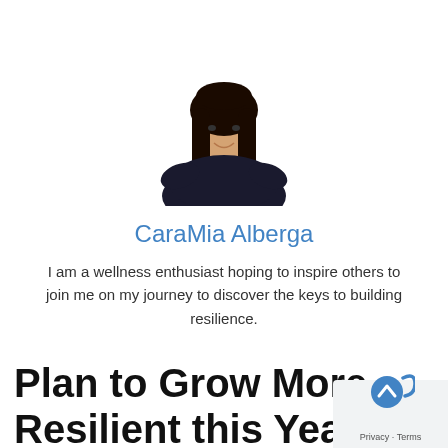[Figure (photo): Headshot photo of a woman with long dark hair wearing a black top, smiling, against a white background.]
CaraMia Alberga
I am a wellness enthusiast hoping to inspire others to join me on my journey to discover the keys to building resilience.
Plan to Grow More Resilient this Year Part One